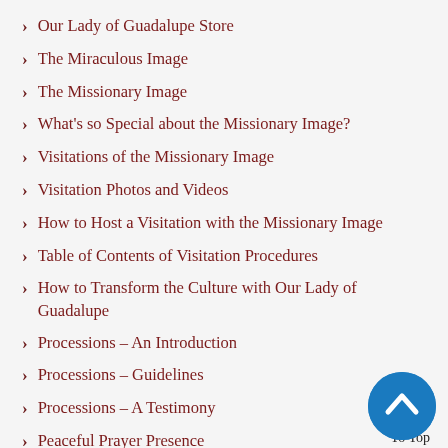Our Lady of Guadalupe Store
The Miraculous Image
The Missionary Image
What's so Special about the Missionary Image?
Visitations of the Missionary Image
Visitation Photos and Videos
How to Host a Visitation with the Missionary Image
Table of Contents of Visitation Procedures
How to Transform the Culture with Our Lady of Guadalupe
Processions – An Introduction
Processions – Guidelines
Processions – A Testimony
Peaceful Prayer Presence
Signs and Wonders through the Missionary Image
How to Practice the Devotion